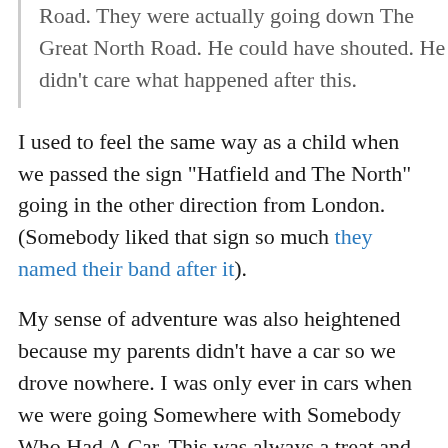Road. They were actually going down The Great North Road. He could have shouted. He didn't care what happened after this.
I used to feel the same way as a child when we passed the sign "Hatfield and The North" going in the other direction from London. (Somebody liked that sign so much they named their band after it).
My sense of adventure was also heightened because my parents didn't have a car so we drove nowhere. I was only ever in cars when we were going Somewhere with Somebody Who Had A Car. This was always a treat and heading for The Great North Road was often the gateway to that adventure. Like Jess Oakroyd, I didn't care what happened after. Being there was enough.
Contributing to the connection with The Great North Road I